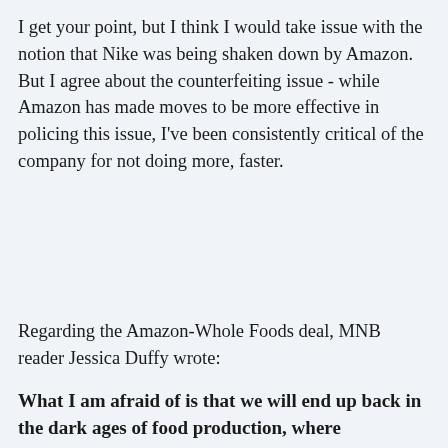I get your point, but I think I would take issue with the notion that Nike was being shaken down by Amazon. But I agree about the counterfeiting issue - while Amazon has made moves to be more effective in policing this issue, I've been consistently critical of the company for not doing more, faster.
Regarding the Amazon-Whole Foods deal, MNB reader Jessica Duffy wrote:
What I am afraid of is that we will end up back in the dark ages of food production, where everything on the grocery store shelves came from some giant conglomerate...except now it will come with delivery. That was when a whole lot of crap ended up in our food as these corporations sought to red